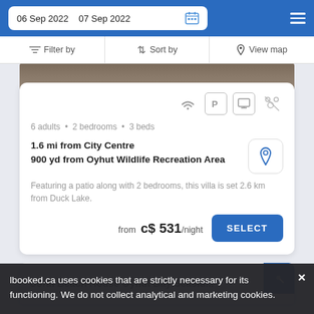06 Sep 2022  07 Sep 2022
Filter by  Sort by  View map
[Figure (photo): Partial view of a property/building exterior at top of listing card]
6 adults • 2 bedrooms • 3 beds
1.6 mi from City Centre
900 yd from Oyhut Wildlife Recreation Area
Featuring a patio along with 2 bedrooms, this villa is set 2.6 km from Duck Lake.
from c$ 531/night
Coral Beach House Oyhut Bay Seasid...
lbooked.ca uses cookies that are strictly necessary for its functioning. We do not collect analytical and marketing cookies.